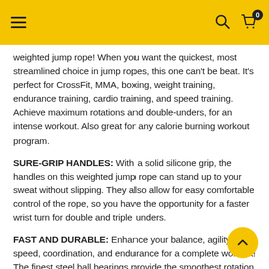[Navigation bar with hamburger menu, search icon, and cart icon (0 items)]
weighted jump rope! When you want the quickest, most streamlined choice in jump ropes, this one can't be beat. It's perfect for CrossFit, MMA, boxing, weight training, endurance training, cardio training, and speed training. Achieve maximum rotations and double-unders, for an intense workout. Also great for any calorie burning workout program.
SURE-GRIP HANDLES: With a solid silicone grip, the handles on this weighted jump rope can stand up to your sweat without slipping. They also allow for easy comfortable control of the rope, so you have the opportunity for a faster wrist turn for double and triple unders.
FAST AND DURABLE: Enhance your balance, agility, speed, coordination, and endurance for a complete workout! The finest steel ball bearings provide the smoothest rotation without friction for the most extraordinary spin. You'll maximize each